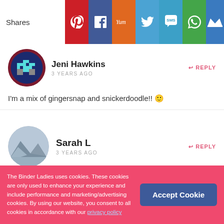Shares [Pinterest] [Facebook] [Yum] [Twitter] [SMS] [WhatsApp] [Crown]
Jeni Hawkins — 3 YEARS AGO — REPLY
I'm a mix of gingersnap and snickerdoodle!! 🙂
Sarah L — 3 YEARS AGO — REPLY
Gingersnaps: Yes! Coconut: No!
The Binder Ladies uses cookies. These cookies are only used to enhance your experience and include performance and marketing/advertising cookies. By using our website, you consent to all cookies in accordance with our privacy policy
Accept Cookie